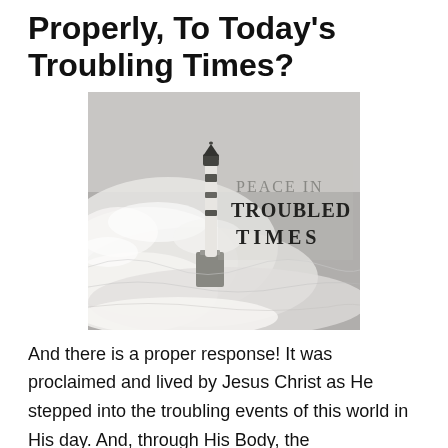Properly, To Today's Troubling Times?
[Figure (illustration): Black and white image of a lighthouse standing amid massive crashing waves. To the right of the lighthouse is text reading 'PEACE IN TROUBLED TIMES' in a serif/display font.]
And there is a proper response! It was proclaimed and lived by Jesus Christ as He stepped into the troubling events of this world in His day. And, through His Body, the